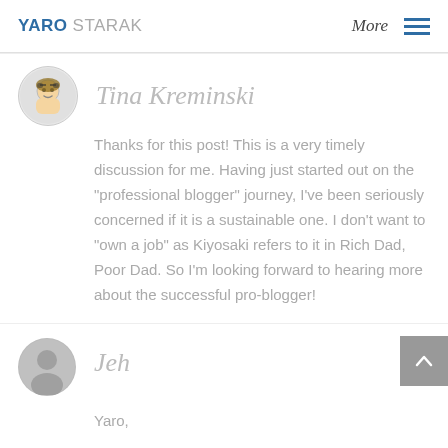YARO STARAK  More ☰
Tina Kreminski
Thanks for this post! This is a very timely discussion for me. Having just started out on the "professional blogger" journey, I've been seriously concerned if it is a sustainable one. I don't want to "own a job" as Kiyosaki refers to it in Rich Dad, Poor Dad. So I'm looking forward to hearing more about the successful pro-blogger!
Jeh
Yaro,